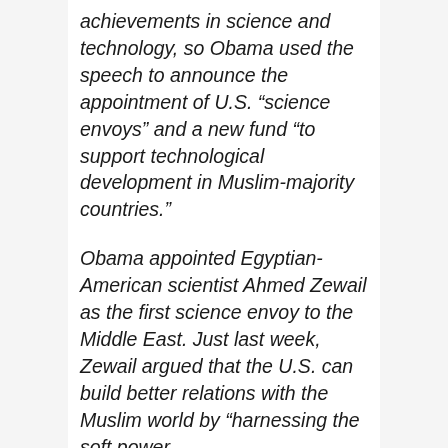achievements in science and technology, so Obama used the speech to announce the appointment of U.S. “science envoys” and a new fund “to support technological development in Muslim-majority countries.”
Obama appointed Egyptian-American scientist Ahmed Zewail as the first science envoy to the Middle East. Just last week, Zewail argued that the U.S. can build better relations with the Muslim world by “harnessing the soft power